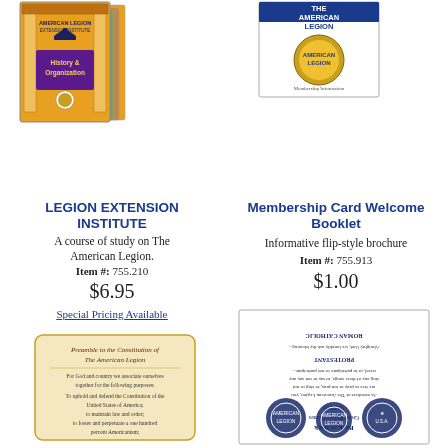[Figure (photo): Stack of American Legion Extension Institute booklets including 'History & Organization']
[Figure (photo): American Legion membership booklet with seal on cover]
LEGION EXTENSION INSTITUTE
A course of study on The American Legion.
Item #: 755.210
$6.95
Special Pricing Available
[Figure (photo): American Legion membership card showing preamble to constitution]
Membership Card Welcome Booklet
Informative flip-style brochure
Item #: 755.913
$1.00
[Figure (photo): Upside-down flip-style welcome booklet with American Legion seals]